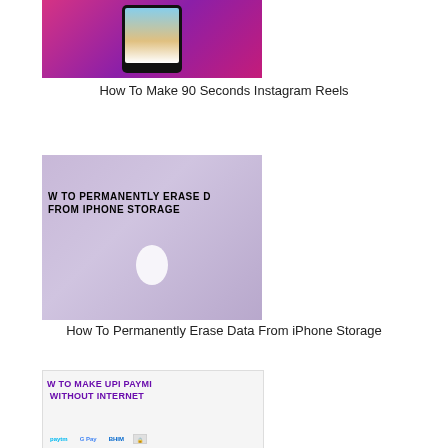[Figure (screenshot): Thumbnail image for Instagram Reels article — pink/purple gradient background with a phone showing a skateboarder]
How To Make 90 Seconds Instagram Reels
[Figure (screenshot): Thumbnail image for iPhone Storage article — purple iPhone on grey background with text 'How To Permanently Erase D... From iPhone Storage']
How To Permanently Erase Data From iPhone Storage
[Figure (screenshot): Thumbnail image for UPI Payment article — white background with purple text 'How To Make UPI Payment Without Internet' and payment app logos at bottom]